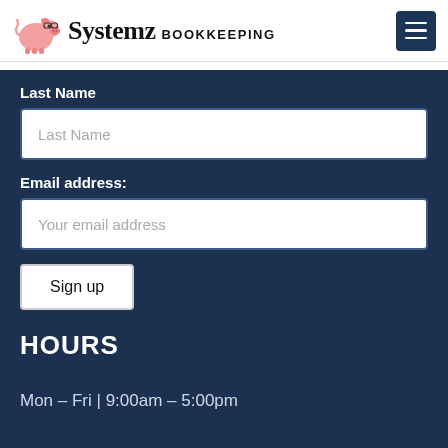Systemz BOOKKEEPING
Last Name
Last Name (input placeholder)
Email address:
Your email address (input placeholder)
Sign up
HOURS
Mon – Fri | 9:00am – 5:00pm